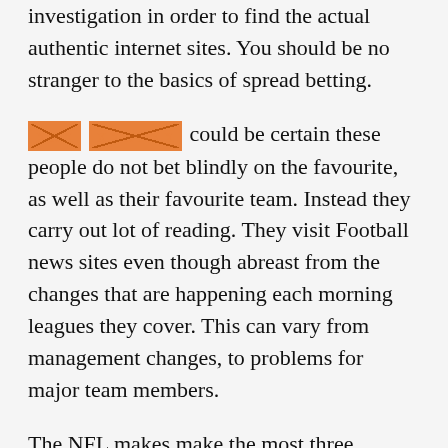investigation in order to find the actual authentic internet sites. You should be no stranger to the basics of spread betting.
[REDACTED] [REDACTED] could be certain these people do not bet blindly on the favourite, as well as their favourite team. Instead they carry out lot of reading. They visit Football news sites even though abreast from the changes that are happening each morning leagues they cover. This can vary from management changes, to problems for major team members.
The NFL makes make the most three different ways: they sell tickets meaning that fans can come and attend games, you can buy broadcast fees to television networks to make sure they can show the games and sell advertising slots, and they offer corporate sponsorships to both individual teams as